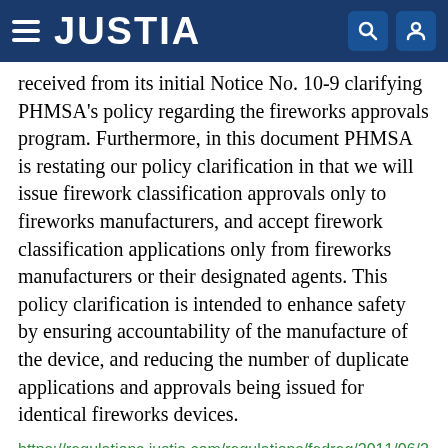JUSTIA
received from its initial Notice No. 10-9 clarifying PHMSA's policy regarding the fireworks approvals program. Furthermore, in this document PHMSA is restating our policy clarification in that we will issue firework classification approvals only to fireworks manufacturers, and accept firework classification applications only from fireworks manufacturers or their designated agents. This policy clarification is intended to enhance safety by ensuring accountability of the manufacture of the device, and reducing the number of duplicate applications and approvals being issued for identical fireworks devices.
https://regulations.justia.com/regulations/fedreg/2011/06/29/2011-15969.html